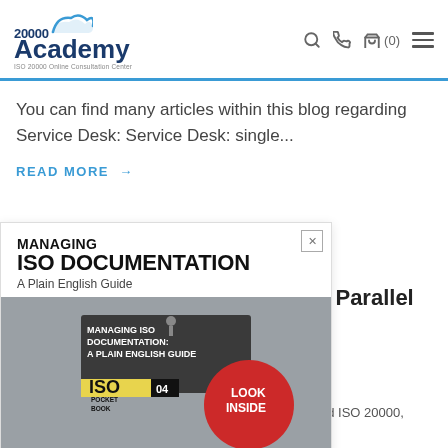20000 Academy - ISO 20000 Online Consultation Center
You can find many articles within this blog regarding Service Desk: Service Desk: single...
READ MORE →
[Figure (illustration): Advertisement popup for 'Managing ISO Documentation: A Plain English Guide' ebook with book cover image and 'DOWNLOAD E-BOOK' button]
: Parallel
nd ISO 20000,